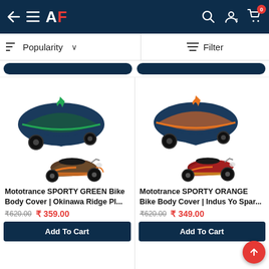AF — App header with back arrow, menu, logo, search, account, cart (0)
Popularity ∨   Filter
[Figure (photo): Mototrance SPORTY GREEN Bike Body Cover — navy blue cover with green trim, with a dark brown/orange scooter beside it]
Mototrance SPORTY GREEN Bike Body Cover | Okinawa  Ridge Pl...
₹620.00  ₹ 359.00
Add To Cart
[Figure (photo): Mototrance SPORTY ORANGE Bike Body Cover — navy blue cover with orange trim, with a red scooter beside it]
Mototrance SPORTY ORANGE Bike Body Cover | Indus Yo Spar...
₹620.00  ₹ 349.00
Add To Cart